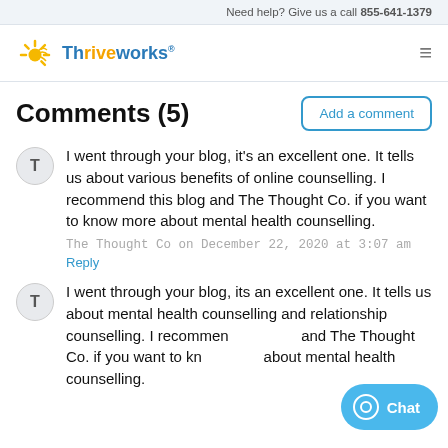Need help? Give us a call 855-641-1379
[Figure (logo): Thriveworks logo with sun/rays icon and brand name]
Comments (5)
Add a comment
I went through your blog, it's an excellent one. It tells us about various benefits of online counselling. I recommend this blog and The Thought Co. if you want to know more about mental health counselling.
The Thought Co on December 22, 2020 at 3:07 am
Reply
I went through your blog, its an excellent one. It tells us about mental health counselling and relationship counselling. I recommen and The Thought Co. if you want to kn about mental health counselling.